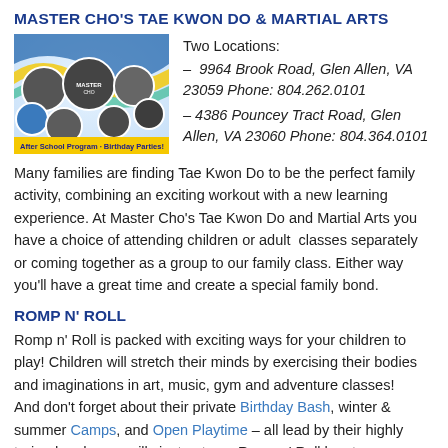MASTER CHO'S TAE KWON DO & MARTIAL ARTS
[Figure (photo): Colorful promotional photo collage for Master Cho's Tae Kwon Do with circular images of students and instructors, colorful swooshes, and a yellow banner reading 'After School Program · Birthday Parties!']
Two Locations:
– 9964 Brook Road, Glen Allen, VA 23059 Phone: 804.262.0101
– 4386 Pouncey Tract Road, Glen Allen, VA 23060 Phone: 804.364.0101
Many families are finding Tae Kwon Do to be the perfect family activity, combining an exciting workout with a new learning experience. At Master Cho's Tae Kwon Do and Martial Arts you have a choice of attending children or adult  classes separately or coming together as a group to our family class. Either way you'll have a great time and create a special family bond.
ROMP N' ROLL
Romp n' Roll is packed with exciting ways for your children to play! Children will stretch their minds by exercising their bodies and imaginations in art, music, gym and adventure classes!   And don't forget about their private Birthday Bash, winter & summer Camps, and Open Playtime – all lead by their highly trained and super silly instructors.  Romp n' Roll has two locations in Richmond – West